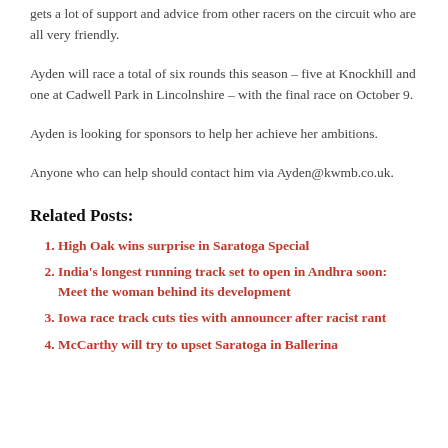gets a lot of support and advice from other racers on the circuit who are all very friendly.
Ayden will race a total of six rounds this season – five at Knockhill and one at Cadwell Park in Lincolnshire – with the final race on October 9.
Ayden is looking for sponsors to help her achieve her ambitions.
Anyone who can help should contact him via Ayden@kwmb.co.uk.
Related Posts:
High Oak wins surprise in Saratoga Special
India's longest running track set to open in Andhra soon: Meet the woman behind its development
Iowa race track cuts ties with announcer after racist rant
McCarthy will try to upset Saratoga in Ballerina